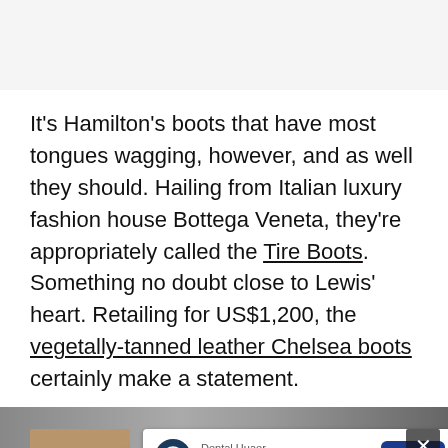It's Hamilton's boots that have most tongues wagging, however, and as well they should. Hailing from Italian luxury fashion house Bottega Veneta, they're appropriately called the Tire Boots. Something no doubt close to Lewis' heart. Retailing for US$1,200, the vegetally-tanned leather Chelsea boots certainly make a statement.
[Figure (photo): Partially visible person photo with two overlaid advertisement banners: one for 'Dental Huaer CE Approved Dentist Use' with an Open button, and one for 'tally Fast credit card payoff' with a Download Now button. A close X button and navigation arrow are also visible.]